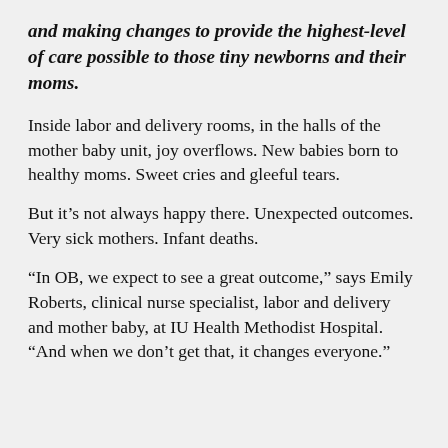and making changes to provide the highest-level of care possible to those tiny newborns and their moms.
Inside labor and delivery rooms, in the halls of the mother baby unit, joy overflows. New babies born to healthy moms. Sweet cries and gleeful tears.
But it’s not always happy there. Unexpected outcomes. Very sick mothers. Infant deaths.
“In OB, we expect to see a great outcome,” says Emily Roberts, clinical nurse specialist, labor and delivery and mother baby, at IU Health Methodist Hospital. “And when we don’t get that, it changes everyone.”